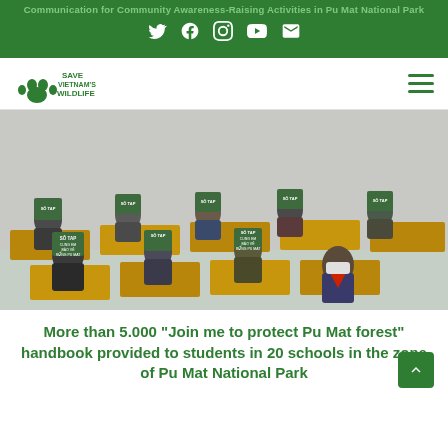Communication for Community Awareness Raising Activities in Pu Mat National Park
[Figure (logo): Save Vietnam's Wildlife logo in green]
[Figure (photo): Classroom full of students wearing masks and holding up green notebooks labeled 'Cung em bao ve rung Pu Mat' at their desks]
More than 5.000 “Join me to protect Pu Mat forest” handbook provided to students in 20 schools in the zone of Pu Mat National Park